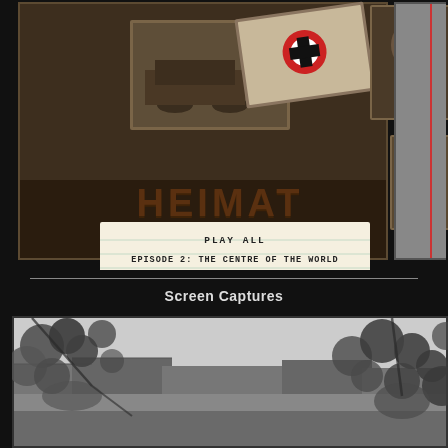[Figure (screenshot): DVD menu screenshot for 'Heimat' showing vintage sepia-toned photographs of a car, Nazi flag, and portrait photos arranged on a dark background, with a lined notecard showing menu options: PLAY ALL, EPISODE 2: THE CENTRE OF THE WORLD, EPISODE 3: THE BEST CHRISTMAS EVER. A second partial screenshot is visible to the right edge.]
Screen Captures
[Figure (screenshot): Black and white screen capture from Heimat film showing an outdoor scene with foliage/leaves in foreground and buildings/rooftops in background, shallow depth of field.]